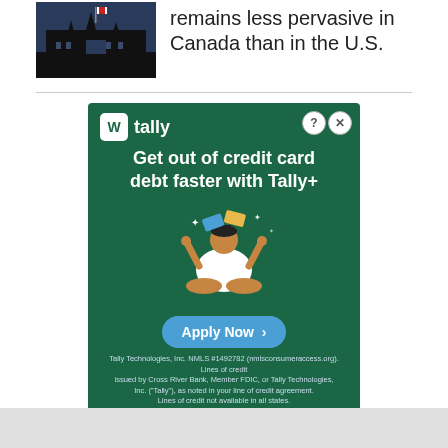[Figure (photo): Parliament Buildings silhouette with Canadian flag against a dark sky]
remains less pervasive in Canada than in the U.S.
[Figure (other): Tally advertisement: 'Get out of credit card debt faster with Tally+' with Apply Now button and fine print about Tally Technologies, Inc. NMLS #1492782]
COMMUNITY POLL
Participating in current community poll...